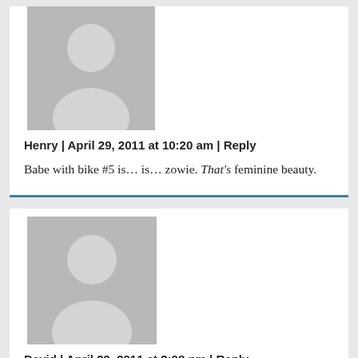[Figure (illustration): Generic grey avatar/placeholder person icon for commenter Henry]
Henry | April 29, 2011 at 10:20 am | Reply
Babe with bike #5 is… is… zowie. That's feminine beauty.
[Figure (illustration): Generic grey avatar/placeholder person icon for commenter David]
David | April 29, 2011 at 2:08 pm | Reply
Look at those ankles and knees — hubba hubba!